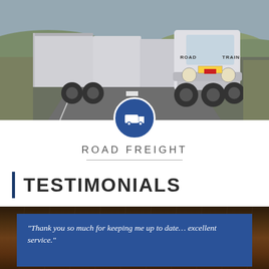[Figure (photo): A large white road train truck driving toward the camera on a highway through Australian outback landscape with red soil and scrubby vegetation.]
ROAD FREIGHT
TESTIMONIALS
[Figure (photo): Dark wooden table background behind a blue testimonial box.]
“Thank you so much for keeping me up to date… excellent service.”